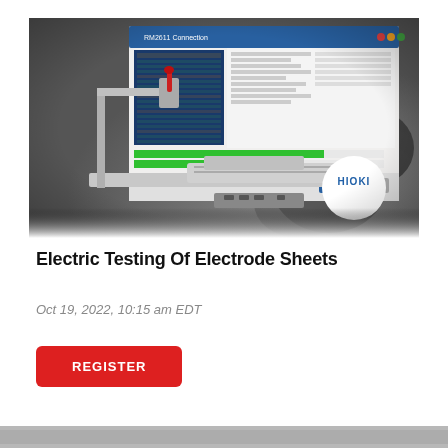[Figure (screenshot): Hero image showing a laboratory electrode sheet testing apparatus (mechanical fixture with silver/steel components) overlaid with a software interface screenshot (RM2611 Connection application with green progress bars, data entry fields, and data tables). A HIOKI logo appears in a white circle in the bottom-right of the image. The background has a dark grey blurred texture.]
Electric Testing Of Electrode Sheets
Oct 19, 2022, 10:15 am EDT
REGISTER